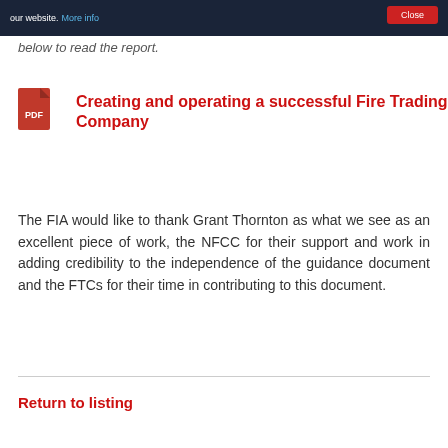our website. More info   Close
below to read the report.
[Figure (other): PDF document icon (red)]
Creating and operating a successful Fire Trading Company
The FIA would like to thank Grant Thornton as what we see as an excellent piece of work, the NFCC for their support and work in adding credibility to the independence of the guidance document and the FTCs for their time in contributing to this document.
Return to listing